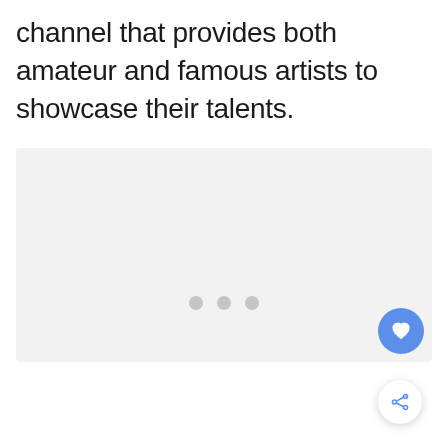channel that provides both amateur and famous artists to showcase their talents.
[Figure (other): A light gray placeholder image box with three gray dots in the lower center indicating a loading or carousel state, a blue circular heart/favorite button in the lower right corner, and a white circular share button below the image box.]